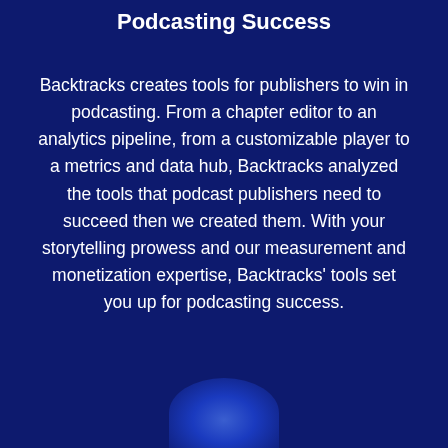Podcasting Success
Backtracks creates tools for publishers to win in podcasting. From a chapter editor to an analytics pipeline, from a customizable player to a metrics and data hub, Backtracks analyzed the tools that podcast publishers need to succeed then we created them. With your storytelling prowess and our measurement and monetization expertise, Backtracks' tools set you up for podcasting success.
[Figure (illustration): Partial circular blue gradient shape at the bottom center of the page, suggesting a person or logo element]